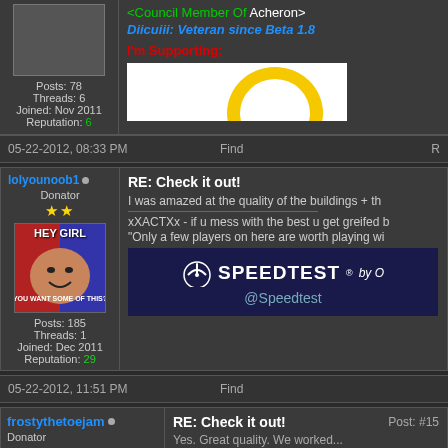Posts: 78
Threads: 6
Joined: Nov 2011
Reputation: 6
<Council Member Of Acheron>
Diicuiii: Veteran since Beta 1.8
I'm Supporting:
05-22-2012, 08:33 PM   Find   R
lolyounoob1 • Donator
Posts: 185
Threads: 1
Joined: Dec 2011
Reputation: 29
RE: Check it out!
I was amazed at the quality of the buildings + th
xXACTXx - if u mess with the best u get greifed b
"Only a few players on here are worth playing wi
[Figure (screenshot): Speedtest.net banner advertisement]
05-22-2012, 11:51 PM   Find
frostythetoejam • Donator
RE: Check it out!
Post: #15
Yes. Great quality. We worked...